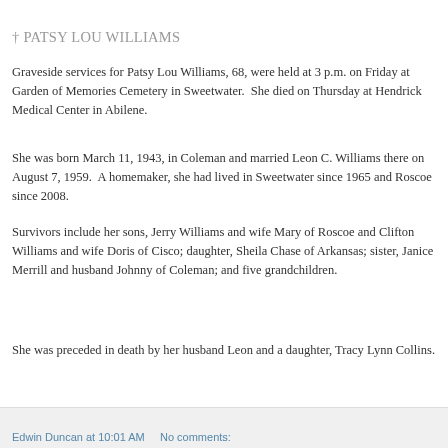† PATSY LOU WILLIAMS
Graveside services for Patsy Lou Williams, 68, were held at 3 p.m. on Friday at Garden of Memories Cemetery in Sweetwater.  She died on Thursday at Hendrick Medical Center in Abilene.
She was born March 11, 1943, in Coleman and married Leon C. Williams there on August 7, 1959.  A homemaker, she had lived in Sweetwater since 1965 and Roscoe since 2008.
Survivors include her sons, Jerry Williams and wife Mary of Roscoe and Clifton Williams and wife Doris of Cisco; daughter, Sheila Chase of Arkansas; sister, Janice Merrill and husband Johnny of Coleman; and five grandchildren.
She was preceded in death by her husband Leon and a daughter, Tracy Lynn Collins.
Edwin Duncan at 10:01 AM     No comments: